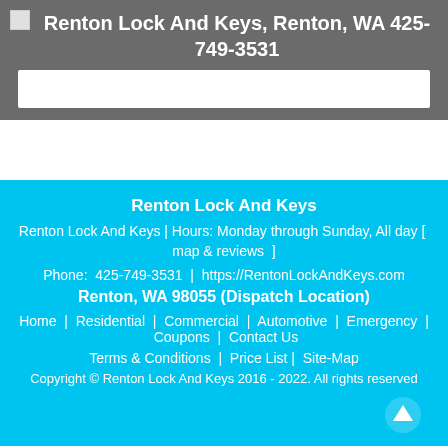Renton Lock And Keys, Renton, WA 425-749-3531
Renton Lock And Keys
Renton Lock And Keys | Hours: Monday through Sunday, All day [  map & reviews  ]
Phone:  425-749-3531  |  https://RentonLockAndKeys.com
Renton, WA 98055 (Dispatch Location)
Home  |  Residential  |  Commercial  |  Automotive  |  Emergency  |  Coupons  |  Contact Us
Terms & Conditions  |  Price List |  Site-Map
Copyright © Renton Lock And Keys 2016 - 2022. All rights reserved